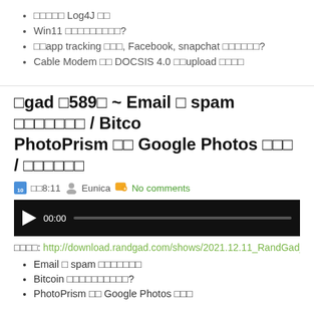□□□□□ Log4J □□
Win11 □□□□□□□□□?
□□app tracking □□□, Facebook, snapchat □□□□□□?
Cable Modem □□ DOCSIS 4.0 □□upload □□□□
□gad □589□ ~ Email □ spam □□□□□□□ / Bitco... PhotoPrism □□ Google Photos □□□ / □□□□□□
□□8:11  Eunica  No comments
[Figure (other): Audio player with play button showing 00:00 timestamp and progress bar on black background]
□□□□: http://download.randgad.com/shows/2021.12.11_RandGad_ep58...
Email □ spam □□□□□□□
Bitcoin □□□□□□□□□□?
PhotoPrism □□ Google Photos □□□